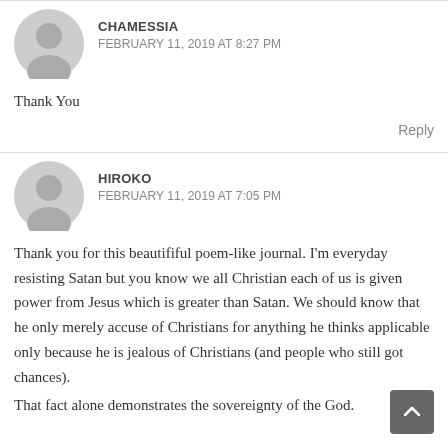CHAMESSIA — FEBRUARY 11, 2019 AT 8:27 PM
Thank You
Reply
HIROKO — FEBRUARY 11, 2019 AT 7:05 PM
Thank you for this beautififul poem-like journal. I'm everyday resisting Satan but you know we all Christian each of us is given power from Jesus which is greater than Satan. We should know that he only merely accuse of Christians for anything he thinks applicable only because he is jealous of Christians (and people who still got chances).
That fact alone demonstrates the sovereignty of the God.